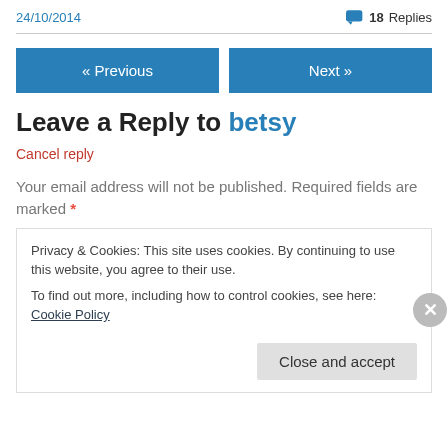24/10/2014   💬 18 Replies
« Previous   Next »
Leave a Reply to betsy
Cancel reply
Your email address will not be published. Required fields are marked *
Privacy & Cookies: This site uses cookies. By continuing to use this website, you agree to their use.
To find out more, including how to control cookies, see here: Cookie Policy
Close and accept